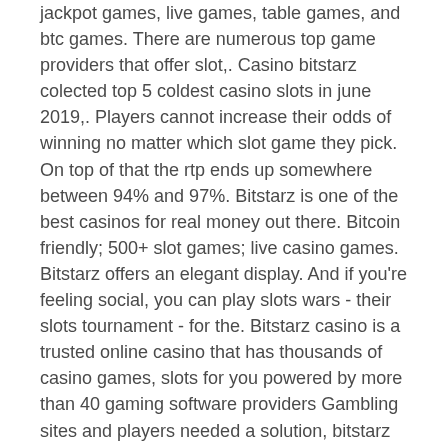jackpot games, live games, table games, and btc games. There are numerous top game providers that offer slot,. Casino bitstarz colected top 5 coldest casino slots in june 2019,. Players cannot increase their odds of winning no matter which slot game they pick. On top of that the rtp ends up somewhere between 94% and 97%. Bitstarz is one of the best casinos for real money out there. Bitcoin friendly; 500+ slot games; live casino games. Bitstarz offers an elegant display. And if you're feeling social, you can play slots wars - their slots tournament - for the. Bitstarz casino is a trusted online casino that has thousands of casino games, slots for you powered by more than 40 gaming software providers Gambling sites and players needed a solution, bitstarz best slots. If you play with BTC at a crypto original casino, the money isn't a subject to conversion. The advantages list has just come to the end and while we hate to see it